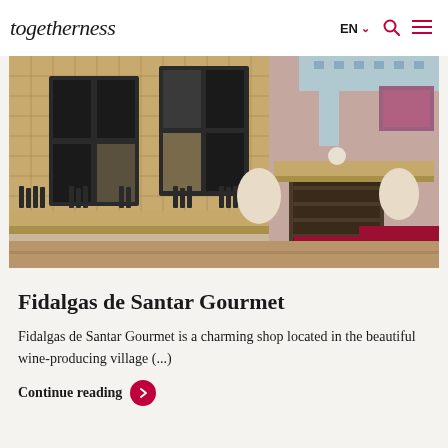togetherness — EN navigation with search and menu icons
[Figure (photo): Interior of Fidalgas de Santar Gourmet wine shop showing wooden wine racks filled with bottles along the wall, modern shelving units, a wine cooler refrigerator unit, and red seating/stools in the foreground.]
Fidalgas de Santar Gourmet
Fidalgas de Santar Gourmet is a charming shop located in the beautiful wine-producing village (...)
Continue reading